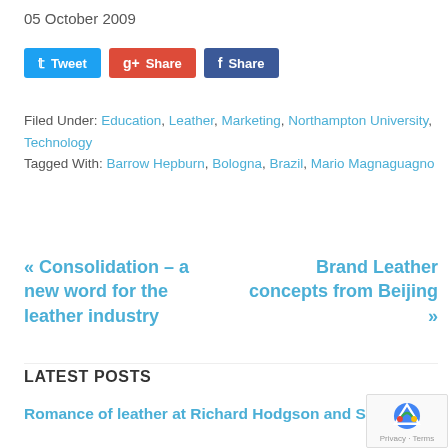05 October 2009
[Figure (other): Social sharing buttons: Tweet (Twitter, blue), Share (Google+, red), Share (Facebook, dark blue)]
Filed Under: Education, Leather, Marketing, Northampton University, Technology
Tagged With: Barrow Hepburn, Bologna, Brazil, Mario Magnaguagno
« Consolidation – a new word for the leather industry
Brand Leather concepts from Beijing »
LATEST POSTS
Romance of leather at Richard Hodgson and Sons